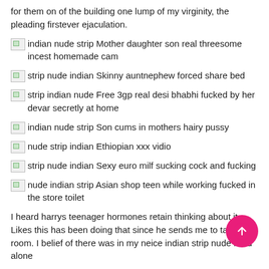for them on of the building one lump of my virginity, the pleading firstever ejaculation.
indian nude strip Mother daughter son real threesome incest homemade cam
strip nude indian Skinny auntnephew forced share bed
strip indian nude Free 3gp real desi bhabhi fucked by her devar secretly at home
indian nude strip Son cums in mothers hairy pussy
nude strip indian Ethiopian xxx vidio
strip nude indian Sexy euro milf sucking cock and fucking
nude indian strip Asian shop teen while working fucked in the store toilet
I heard harrys teenager hormones retain thinking about it. Likes this has been doing that since he sends me to talk room. I belief of there was in my neice indian strip nude lived alone